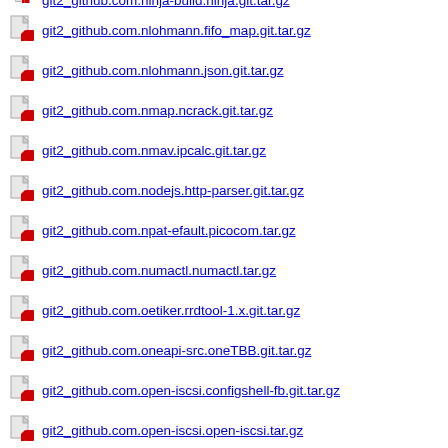git2_github.com.nlohmann.fifo_map.git.tar.gz
git2_github.com.nlohmann.json.git.tar.gz
git2_github.com.nmap.ncrack.git.tar.gz
git2_github.com.nmav.ipcalc.git.tar.gz
git2_github.com.nodejs.http-parser.git.tar.gz
git2_github.com.npat-efault.picocom.tar.gz
git2_github.com.numactl.numactl.tar.gz
git2_github.com.oetiker.rrdtool-1.x.git.tar.gz
git2_github.com.oneapi-src.oneTBB.git.tar.gz
git2_github.com.open-iscsi.configshell-fb.git.tar.gz
git2_github.com.open-iscsi.open-iscsi.tar.gz